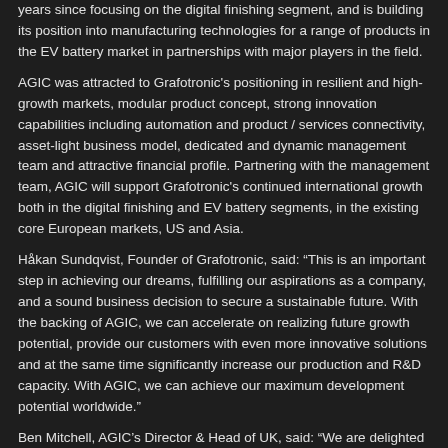years since focusing on the digital finishing segment, and is building its position into manufacturing technologies for a range of products in the EV battery market in partnerships with major players in the field.
AGIC was attracted to Grafotronic's positioning in resilient and high-growth markets, modular product concept, strong innovation capabilities including automation and product / services connectivity, asset-light business model, dedicated and dynamic management team and attractive financial profile. Partnering with the management team, AGIC will support Grafotronic's continued international growth both in the digital finishing and EV battery segments, in the existing core European markets, US and Asia.
Håkan Sundqvist, Founder of Grafotronic, said: “This is an important step in achieving our dreams, fulfilling our aspirations as a company, and a sound business decision to secure a sustainable future. With the backing of AGIC, we can accelerate on realizing future growth potential, provide our customers with even more innovative solutions and at the same time significantly increase our production and R&D capacity. With AGIC, we can achieve our maximum development potential worldwide.”
Ben Mitchell, AGIC’s Director & Head of UK, said: “We are delighted to have made the investment into Grafotronic and to